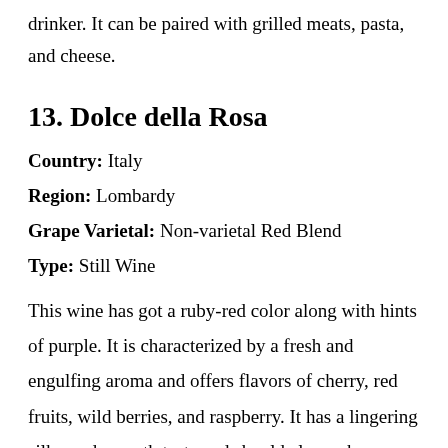drinker. It can be paired with grilled meats, pasta, and cheese.
13. Dolce della Rosa
Country: Italy
Region: Lombardy
Grape Varietal: Non-varietal Red Blend
Type: Still Wine
This wine has got a ruby-red color along with hints of purple. It is characterized by a fresh and engulfing aroma and offers flavors of cherry, red fruits, wild berries, and raspberry. It has a lingering silky and smooth taste and should always be